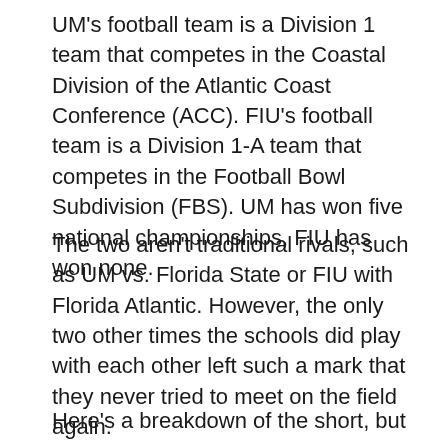UM's football team is a Division 1 team that competes in the Coastal Division of the Atlantic Coast Conference (ACC). FIU's football team is a Division 1-A team that competes in the Football Bowl Subdivision (FBS). UM has won five national championships, FIU has won none.
The two aren't traditional rivals, such as UM vs. Florida State or FIU with Florida Atlantic. However, the only two other times the schools did play with each other left such a mark that they never tried to meet on the field again.
Here's a breakdown of the short, but violent history that encompasses the...